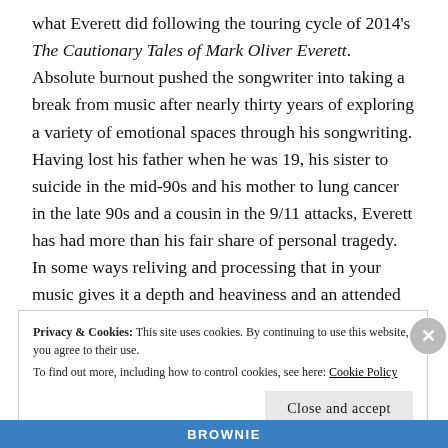what Everett did following the touring cycle of 2014's The Cautionary Tales of Mark Oliver Everett. Absolute burnout pushed the songwriter into taking a break from music after nearly thirty years of exploring a variety of emotional spaces through his songwriting. Having lost his father when he was 19, his sister to suicide in the mid-90s and his mother to lung cancer in the late 90s and a cousin in the 9/11 attacks, Everett has had more than his fair share of personal tragedy. In some ways reliving and processing that in your music gives it a depth and heaviness and an attended ambition to do justice to
Privacy & Cookies: This site uses cookies. By continuing to use this website, you agree to their use.
To find out more, including how to control cookies, see here: Cookie Policy
Close and accept